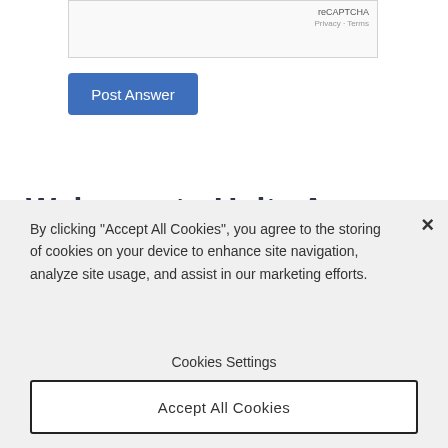[Figure (screenshot): reCAPTCHA widget box with 'reCAPTCHA', 'Privacy · Terms' text]
[Figure (screenshot): Blue 'Post Answer' button]
Welcome to Unity Answers
If you're new to Unity Answers, please check our User Guide to help you navigate through our website and refer to our FAQ for more information.
By clicking "Accept All Cookies", you agree to the storing of cookies on your device to enhance site navigation, analyze site usage, and assist in our marketing efforts.
Cookies Settings
Accept All Cookies